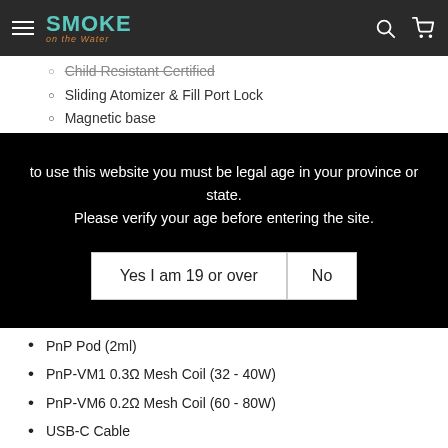SMOKE on the Water — navigation header
Child Resistant Certified (strikethrough/partially visible)
Sliding Atomizer & Fill Port Lock
Magnetic base
to use this website you must be legal age in your province or state. Please verify your age before entering the site.
Yes I am 19 or over | No
PnP Pod (2ml)
PnP-VM1 0.3Ω Mesh Coil (32 - 40W)
PnP-VM6 0.2Ω Mesh Coil (60 - 80W)
USB-C Cable
User Manual